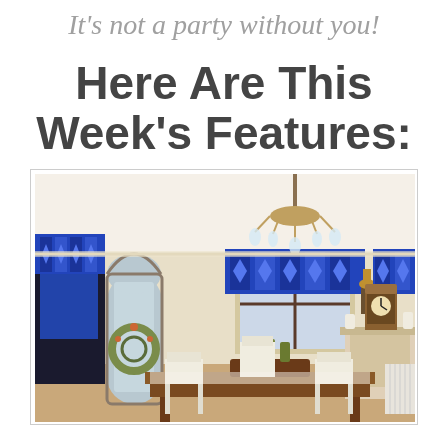It's not a party without you!
Here Are This Week's Features:
[Figure (photo): Interior photo of a dining room with blue ikat curtain valances, a crystal chandelier, a wooden dining table with chairs, a gothic arch mirror, a grandfather clock, and a decorative fireplace mantel.]